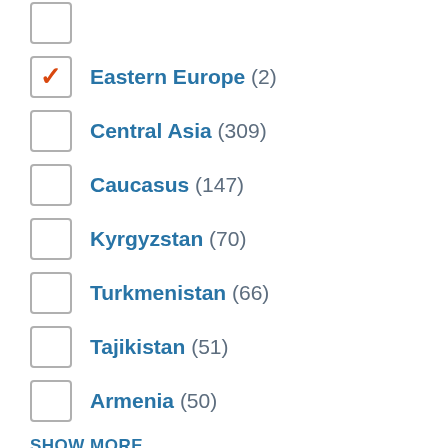Eastern Europe (2)
Central Asia (309)
Caucasus (147)
Kyrgyzstan (70)
Turkmenistan (66)
Tajikistan (51)
Armenia (50)
SHOW MORE
Topics
Coronavirus (85)
Society (72)